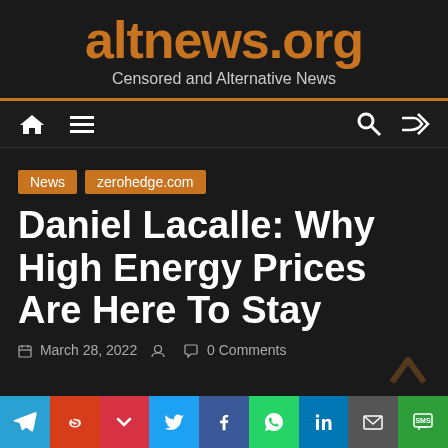altnews.org
Censored and Alternative News
News   zerohedge.com
Daniel Lacalle: Why High Energy Prices Are Here To Stay
March 28, 2022   0 Comments